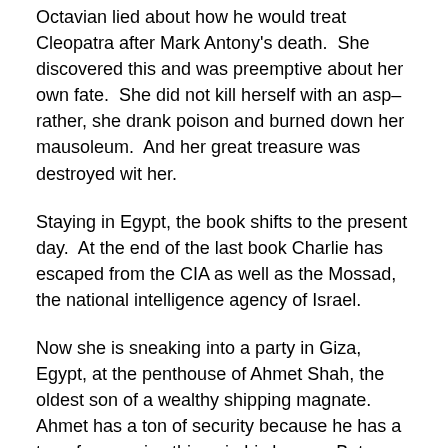Octavian lied about how he would treat Cleopatra after Mark Antony's death.  She discovered this and was preemptive about her own fate.  She did not kill herself with an asp–rather, she drank poison and burned down her mausoleum.  And her great treasure was destroyed wit her.
Staying in Egypt, the book shifts to the present day.  At the end of the last book Charlie has escaped from the CIA as well as the Mossad, the national intelligence agency of Israel.
Now she is sneaking into a party in Giza, Egypt, at the penthouse of Ahmet Shah, the oldest son of a wealthy shipping magnate.  Ahmet has a ton of security because he has a ton of expensive things in his house.  But one thing that Charlie wants is not expensive–it is information.